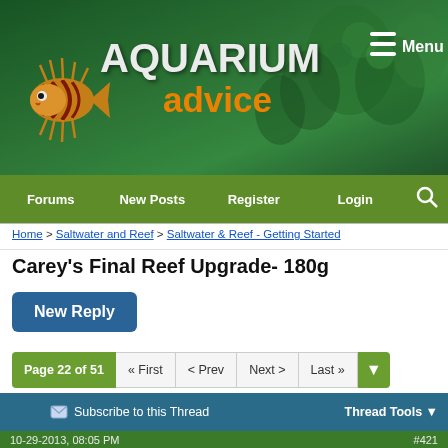[Figure (screenshot): Aquarium Advice website header with logo (lionfish graphic, AQUARIUM in white, advice in orange) on green underwater background, with Menu button top right]
Forums  New Posts  Register  Login  [search]
Home > Saltwater and Reef > Saltwater & Reef - Getting Started
Carey's Final Reef Upgrade- 180g
New Reply
Page 22 of 51  « First  < Prev  Next >  Last »
Subscribe to this Thread  Thread Tools
10-29-2013, 08:05 PM  #421
Dav3  Join Date: Jul 2012  Location: California  Posts: 1,233